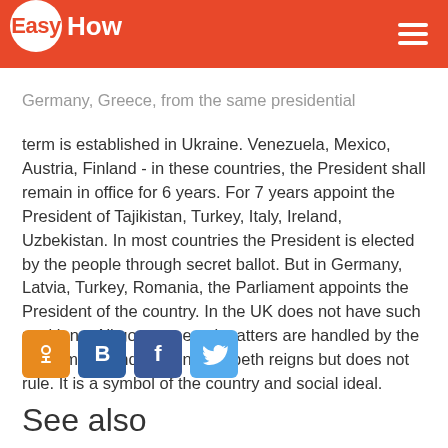EasyHow
Germany, Greece, from the same presidential term is established in Ukraine. Venezuela, Mexico, Austria, Finland - in these countries, the President shall remain in office for 6 years. For 7 years appoint the President of Tajikistan, Turkey, Italy, Ireland, Uzbekistan. In most countries the President is elected by the people through secret ballot. But in Germany, Latvia, Turkey, Romania, the Parliament appoints the President of the country. In the UK does not have such positions. All governmental matters are handled by the Parliament, and Queen Elizabeth reigns but does not rule. It is a symbol of the country and social ideal.
[Figure (infographic): Social share buttons: Odnoklassniki (orange), VKontakte (dark blue), Facebook (blue), Twitter (light blue)]
See also